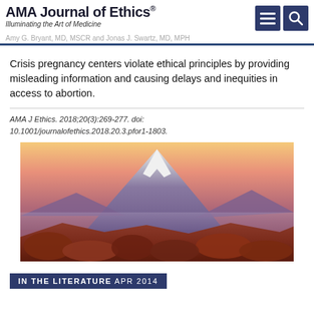AMA Journal of Ethics® — Illuminating the Art of Medicine
Amy G. Bryant, MD, MSCR and Jonas J. Swartz, MD, MPH
Crisis pregnancy centers violate ethical principles by providing misleading information and causing delays and inequities in access to abortion.
AMA J Ethics. 2018;20(3):269-277. doi: 10.1001/journalofethics.2018.20.3.pfor1-1803.
[Figure (photo): Photograph of Mount Fuji at sunset with snow-capped peak, dramatic gradient sky from orange-yellow at top to purple-pink mountain slopes, with red-orange autumn foliage on hills in foreground.]
IN THE LITERATURE APR 2014